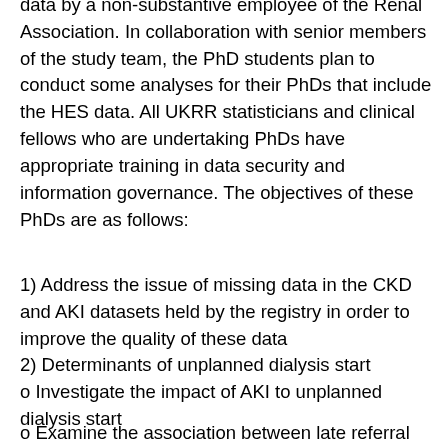data by a non-substantive employee of the Renal Association. In collaboration with senior members of the study team, the PhD students plan to conduct some analyses for their PhDs that include the HES data. All UKRR statisticians and clinical fellows who are undertaking PhDs have appropriate training in data security and information governance. The objectives of these PhDs are as follows:
1) Address the issue of missing data in the CKD and AKI datasets held by the registry in order to improve the quality of these data
2) Determinants of unplanned dialysis start
o Investigate the impact of AKI to unplanned dialysis start
o Examine the association between late referral and unplanned dialysis start in CKD and RRT cohort